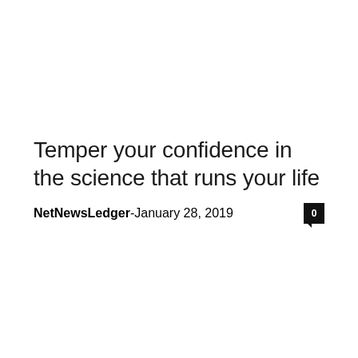Temper your confidence in the science that runs your life
NetNewsLedger - January 28, 2019